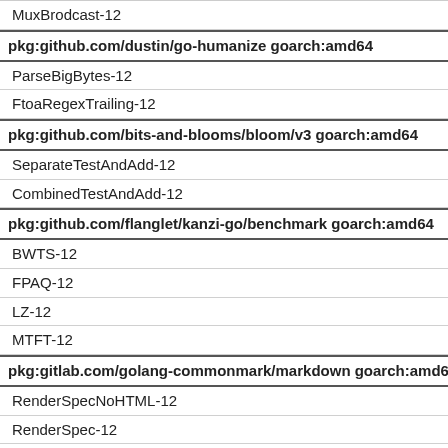MuxBrodcast-12
pkg:github.com/dustin/go-humanize goarch:amd64
ParseBigBytes-12
FtoaRegexTrailing-12
pkg:github.com/bits-and-blooms/bloom/v3 goarch:amd64
SeparateTestAndAdd-12
CombinedTestAndAdd-12
pkg:github.com/flanglet/kanzi-go/benchmark goarch:amd64
BWTS-12
FPAQ-12
LZ-12
MTFT-12
pkg:gitlab.com/golang-commonmark/markdown goarch:amd64
RenderSpecNoHTML-12
RenderSpec-12
RenderSpecBlackFriday2-12
aws_jsonutil_total
aws_jsonutil_text
aws_jsonutil_data
aws_jsonutil_rodata
aws_jsonutil_pclntab
aws_jsonutil_zdebug_total